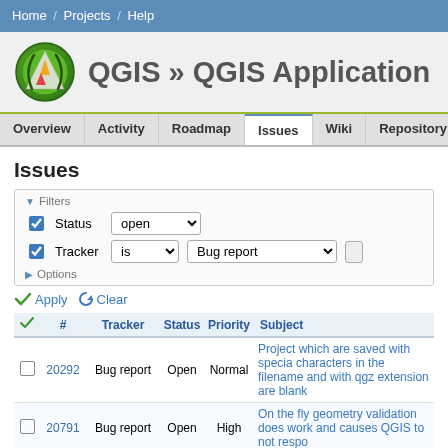Home / Projects / Help
QGIS » QGIS Application
Overview  Activity  Roadmap  Issues  Wiki  Repository
Issues
Filters
Status: open
Tracker: is  Bug report
Options
Apply  Clear
| ✓ | # | Tracker | Status | Priority | Subject |
| --- | --- | --- | --- | --- | --- |
| ☐ | 20292 | Bug report | Open | Normal | Project which are saved with special characters in the filename and with qgz extension are blank |
| ☐ | 20791 | Bug report | Open | High | On the fly geometry validation does work and causes QGIS to not respo... |
| ☐ | 19758 | Bug report | Open | Normal | Processing: merge vector layers produces duplicated fid |
| ☐ | 20934 | Bug report | Open | Normal | fails to export symbols of symbol lin... dxf |